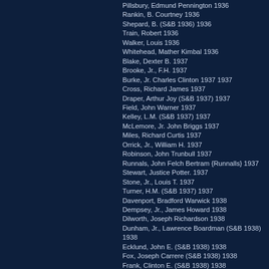Pillsbury, Edmund Pennington 1936
Rankin, B. Courtney 1936
Shepard, B. (S&B 1936) 1936
Train, Robert 1936
Walker, Louis 1936
Whitehead, Mather Kimbal 1936
Blake, Dexter B. 1937
Brooke, Jr., F.H. 1937
Burke, Jr. Charles Clinton 1937 1937
Cross, Richard James 1937
Draper, Arthur Joy (S&B 1937) 1937
Field, John Warner 1937
Kelley, L.M. (S&B 1937) 1937
McLemore, Jr. John Briggs 1937
Miles, Richard Curtis 1937
Orrick, Jr., William H. 1937
Robinson, John Trunbull 1937
Runnals, John Felch Bertram {Runnalls} 1937
Stewart, Justice Potter. 1937
Stone, Jr., Louis T. 1937
Turner, H.M. (S&B 1937) 1937
Davenport, Bradford Warwick 1938
Dempsey, Jr., James Howard 1938
Dilworth, Joseph Richardson 1938
Dunham, Jr., Lawrence Boardman (S&B 1938) 1938
Ecklund, John E. (S&B 1938) 1938
Fox, Joseph Carrere (S&B 1938) 1938
Frank, Clinton E. (S&B 1938) 1938
Gordon Edward McGuire 1938 1938
Hessberg II, Albert 1938